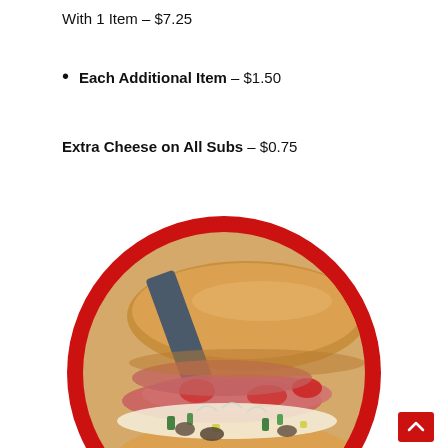With 1 Item – $7.25
Each Additional Item – $1.50
Extra Cheese on All Subs – $0.75
[Figure (photo): A sub sandwich with toppings including tomatoes, mushrooms, peppers, onions, and cheese, displayed inside a red circular frame/border.]